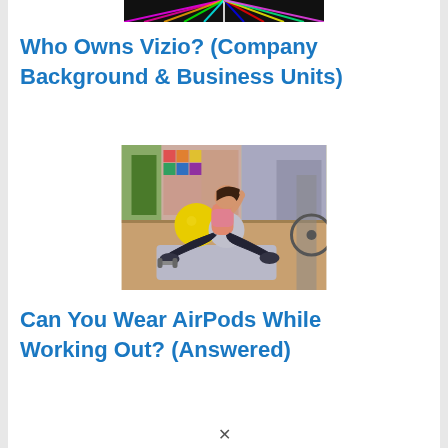[Figure (photo): Colorful radial light burst image at the top of the page, partially cropped]
Who Owns Vizio? (Company Background & Business Units)
[Figure (photo): Woman in pink sports bra and black leggings sitting on a yoga mat in a gym, doing a split stretch while touching her ear, with exercise balls and equipment in the background]
Can You Wear AirPods While Working Out? (Answered)